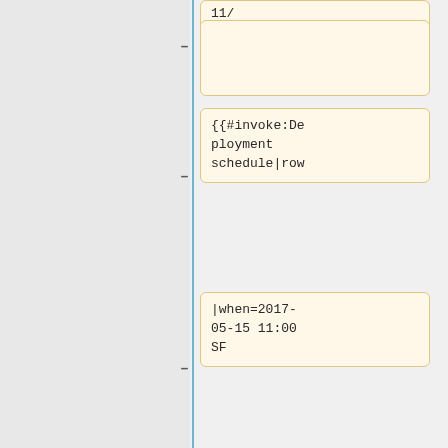—
—
{{#invoke:Deployment schedule|row
|when=2017-05-15 11:00 SF
|length=1
|window=[[SWAT deploys|Morning SWAT]]<br/><small>'''(Max 8 patches)'''</small>